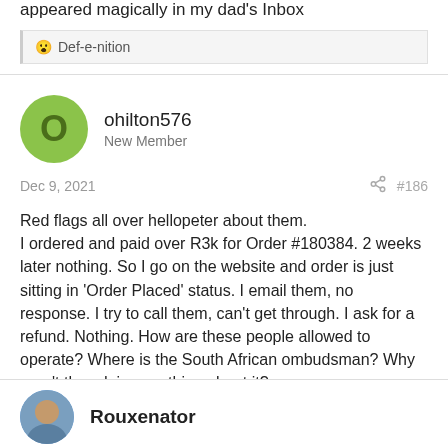appeared magically in my dad's Inbox
😮 Def-e-nition
ohilton576
New Member
Dec 9, 2021
#186
Red flags all over hellopeter about them.
I ordered and paid over R3k for Order #180384. 2 weeks later nothing. So I go on the website and order is just sitting in 'Order Placed' status. I email them, no response. I try to call them, can't get through. I ask for a refund. Nothing. How are these people allowed to operate? Where is the South African ombudsman? Why aren't they doing anything about it?
😕 insect
Rouxenator